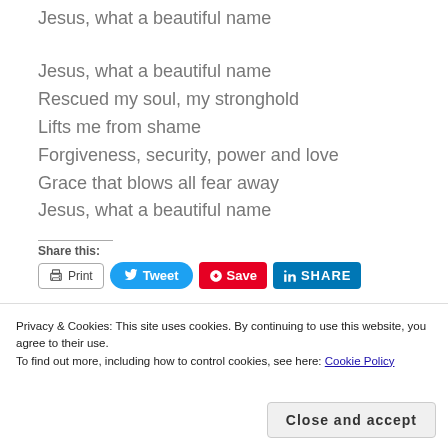Jesus, what a beautiful name
Jesus, what a beautiful name
Rescued my soul, my stronghold
Lifts me from shame
Forgiveness, security, power and love
Grace that blows all fear away
Jesus, what a beautiful name
Share this:
Print  Tweet  Save  SHARE
Privacy & Cookies: This site uses cookies. By continuing to use this website, you agree to their use. To find out more, including how to control cookies, see here: Cookie Policy
Close and accept